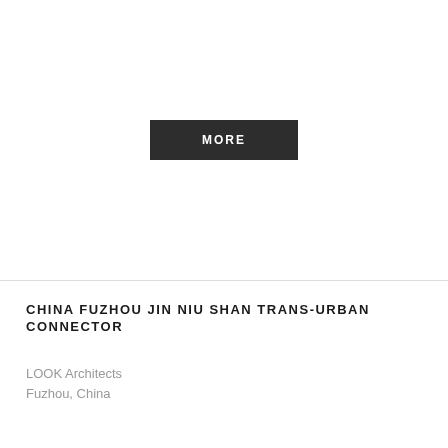[Figure (other): White blank area representing an image placeholder with a MORE button centered in it]
CHINA FUZHOU JIN NIU SHAN TRANS-URBAN CONNECTOR
LOOK Architects
Fuzhou, China